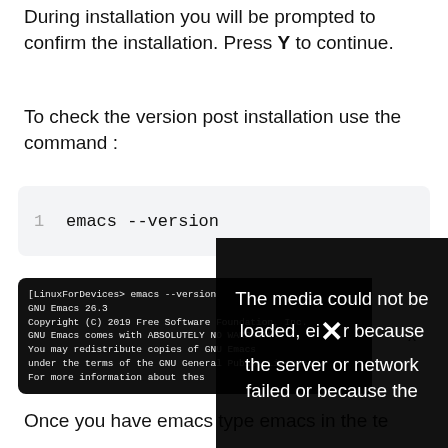During installation you will be prompted to confirm the installation. Press Y to continue.
To check the version post installation use the command :
[Figure (screenshot): Code block showing: 1   emacs --version]
[Figure (screenshot): Terminal screenshot showing: [LinuxForDevices> emacs --version, GNU Emacs 26.3, Copyright (C) 2019 Free Software Foundation, Inc., GNU Emacs comes with ABSOLUTELY NO WARRANTY., You may redistribute copies of GNU Emacs, under the terms of the GNU General Public License., For more information about thes... with an X close button and a media error overlay: The media could not be loaded, either because the server or network failed or because the]
Once you have emacs... type emacs in the te...